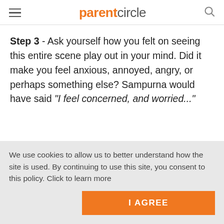parentcircle
Step 3 - Ask yourself how you felt on seeing this entire scene play out in your mind. Did it make you feel anxious, annoyed, angry, or perhaps something else? Sampurna would have said "I feel concerned, and worried..."
We use cookies to allow us to better understand how the site is used. By continuing to use this site, you consent to this policy. Click to learn more
I AGREE